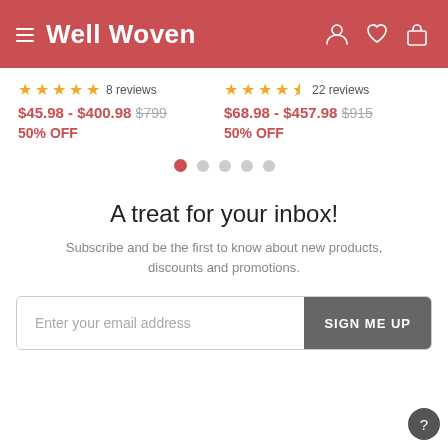Well Woven
★★★★★ 8 reviews | $45.98 - $400.98 $799 | 50% OFF
★★★★½ 22 reviews | $68.98 - $457.98 $915 | 50% OFF
A treat for your inbox!
Subscribe and be the first to know about new products, discounts and promotions.
Enter your email address | SIGN ME UP